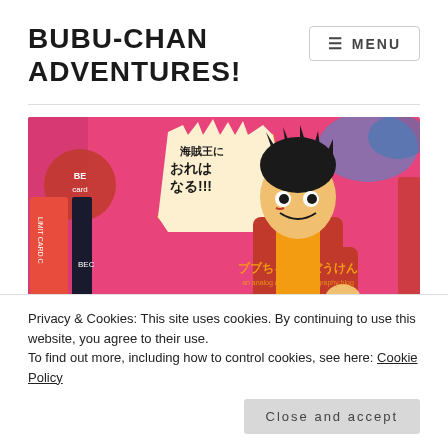BUBU-CHAN ADVENTURES!
[Figure (screenshot): A webpage header with MENU button and a main image showing an anime figure (Monkey D. Luffy from One Piece) toy/figurine against a colorful pink background with Japanese text in a speech bubble reading 海賊王におれはなる!!! and the blog name ブブちゃんのぼうけん]
Privacy & Cookies: This site uses cookies. By continuing to use this website, you agree to their use.
To find out more, including how to control cookies, see here: Cookie Policy
Close and accept